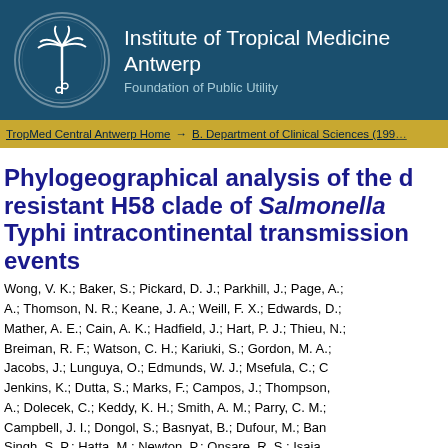[Figure (logo): Institute of Tropical Medicine Antwerp logo — circular emblem with palm tree and snake/staff symbol on dark teal background]
Institute of Tropical Medicine Antwerp
Foundation of Public Utility
TropMed Central Antwerp Home → B. Department of Clinical Sciences (199…
Phylogeographical analysis of the d resistant H58 clade of Salmonella Typhi intracontinental transmission events
Wong, V. K.; Baker, S.; Pickard, D. J.; Parkhill, J.; Page, A.; A.; Thomson, N. R.; Keane, J. A.; Weill, F. X.; Edwards, D.; Mather, A. E.; Cain, A. K.; Hadfield, J.; Hart, P. J.; Thieu, N.; Breiman, R. F.; Watson, C. H.; Kariuki, S.; Gordon, M. A.; Jacobs, J.; Lunguya, O.; Edmunds, W. J.; Msefula, C.; C Jenkins, K.; Dutta, S.; Marks, F.; Campos, J.; Thompson, A.; Dolecek, C.; Keddy, K. H.; Smith, A. M.; Parry, C. M.; Campbell, J. I.; Dongol, S.; Basnyat, B.; Dufour, M.; Ban Singh, S. P.; Hatta, M.; Newton, P.; Onsare, R. S.; Isaia Thwaites, G.; Wijedoru, L.; Crump, J. A.; De Pinna, E.; Nair Turner, P.; Soeng, S.; Valcanis, M.; Powling, J.; Dimovski, K